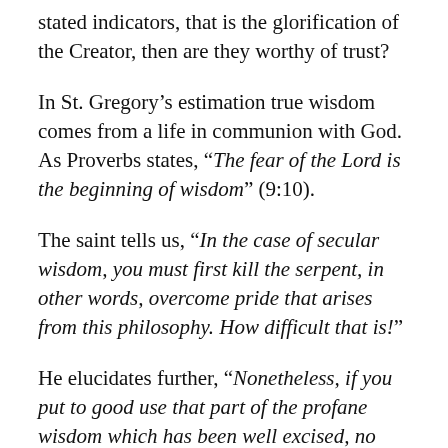stated indicators, that is the glorification of the Creator, then are they worthy of trust?
In St. Gregory’s estimation true wisdom comes from a life in communion with God. As Proverbs states, “The fear of the Lord is the beginning of wisdom” (9:10).
The saint tells us, “In the case of secular wisdom, you must first kill the serpent, in other words, overcome pride that arises from this philosophy. How difficult that is!”
He elucidates further, “Nonetheless, if you put to good use that part of the profane wisdom which has been well excised, no harm can result, for it will naturally have become an instrument for good.” The saints teaches that